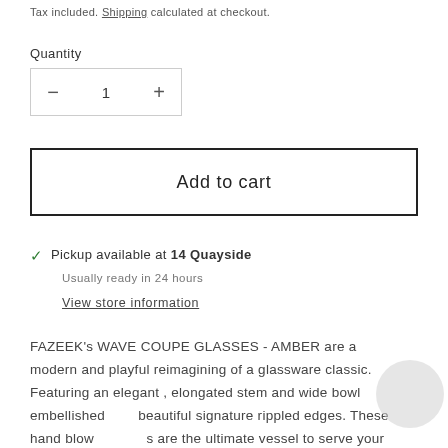Tax included. Shipping calculated at checkout.
Quantity
1
Add to cart
✓ Pickup available at 14 Quayside
Usually ready in 24 hours
View store information
FAZEEK's WAVE COUPE GLASSES - AMBER are a modern and playful reimagining of a glassware classic. Featuring an elegant , elongated stem and wide bowl embellished with beautiful signature rippled edges. These hand blown glasses are the ultimate vessel to serve your favourite sparkling